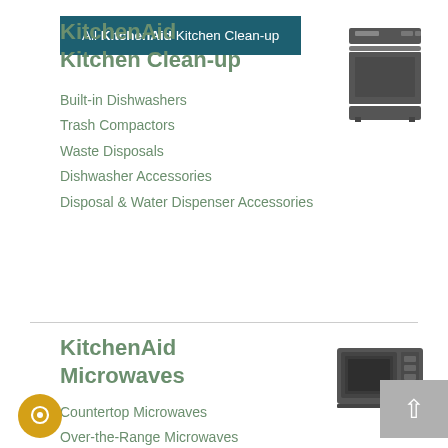KitchenAid Kitchen Clean-up
[Figure (illustration): Icon of a built-in dishwasher appliance in dark gray]
Built-in Dishwashers
Trash Compactors
Waste Disposals
Dishwasher Accessories
Disposal & Water Dispenser Accessories
All KitchenAid Kitchen Clean-up
KitchenAid Microwaves
[Figure (illustration): Icon of a countertop microwave appliance in dark gray]
Countertop Microwaves
Over-the-Range Microwaves